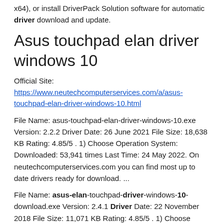x64), or install DriverPack Solution software for automatic driver download and update.
Asus touchpad elan driver windows 10
Official Site: https://www.neutechcomputerservices.com/a/asus-touchpad-elan-driver-windows-10.html
File Name: asus-touchpad-elan-driver-windows-10.exe Version: 2.2.2 Driver Date: 26 June 2021 File Size: 18,638 KB Rating: 4.85/5 . 1) Choose Operation System: Downloaded: 53,941 times Last Time: 24 May 2022. On neutechcomputerservices.com you can find most up to date drivers ready for download. ...
File Name: asus-elan-touchpad-driver-windows-10-download.exe Version: 2.4.1 Driver Date: 22 November 2018 File Size: 11,071 KB Rating: 4.85/5 . 1) Choose Operation System: Downloaded: 83,694 times Last Time: